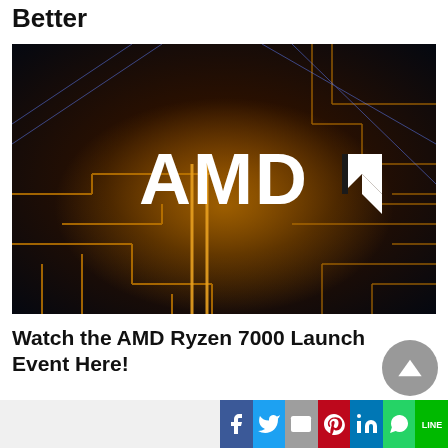Better
[Figure (photo): AMD circuit board background with large white AMD logo text in the center]
Watch the AMD Ryzen 7000 Launch Event Here!
[Figure (photo): Partial view of a dark tech/circuit board image at the bottom of the page]
Social share bar with Facebook, Twitter, Gmail, Pinterest, LinkedIn, WhatsApp, LINE buttons